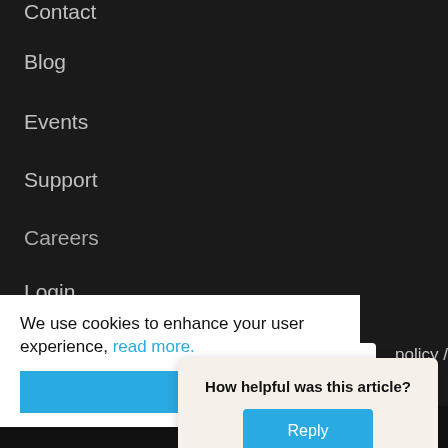Contact
Blog
Events
Support
Careers
Login
Get a Demo
We use cookies to enhance your user experience, read more.
policy /
How helpful was this article?
Reply